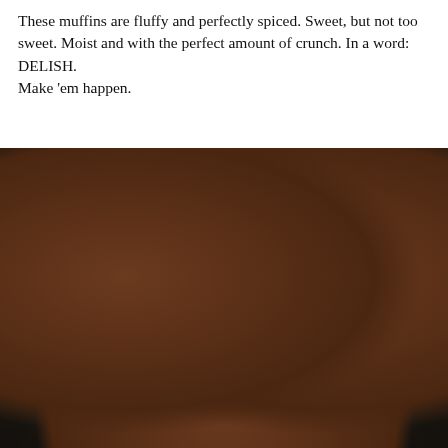These muffins are fluffy and perfectly spiced. Sweet, but not too sweet. Moist and with the perfect amount of crunch. In a word: DELISH.
Make 'em happen.
[Figure (photo): Close-up photo of golden-brown pumpkin or sweet potato muffins topped with pecan nuts, arranged on a dark surface. The muffins have a rustic, crinkled texture with a warm amber-orange color.]